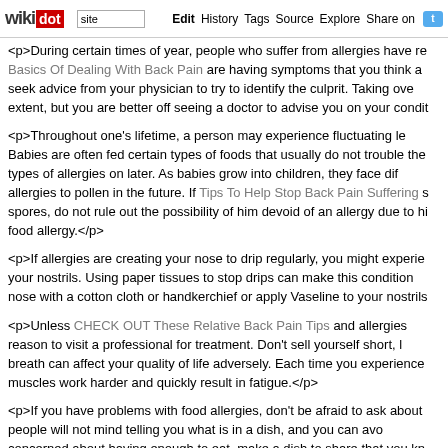wikidot | site | Edit | History | Tags | Source | Explore | Share on [Twitter]
<p>During certain times of year, people who suffer from allergies have re… Basics Of Dealing With Back Pain are having symptoms that you think a… seek advice from your physician to try to identify the culprit. Taking ove… extent, but you are better off seeing a doctor to advise you on your condit…
<p>Throughout one's lifetime, a person may experience fluctuating le… Babies are often fed certain types of foods that usually do not trouble the… types of allergies on later. As babies grow into children, they face dif… allergies to pollen in the future. If Tips To Help Stop Back Pain Suffering s… spores, do not rule out the possibility of him devoid of an allergy due to hi… food allergy.</p>
<p>If allergies are creating your nose to drip regularly, you might experie… your nostrils. Using paper tissues to stop drips can make this condition … nose with a cotton cloth or handkerchief or apply Vaseline to your nostrils…
<p>Unless CHECK OUT These Relative Back Pain Tips and allergies … reason to visit a professional for treatment. Don't sell yourself short, l… breath can affect your quality of life adversely. Each time you experience … muscles work harder and quickly result in fatigue.</p>
<p>If you have problems with food allergies, don't be afraid to ask about … people will not mind telling you what is in a dish, and you can avo… concerned about having enough to eat, make a dish to share that you kn…
<p>When looking at your local weather forecast, in the event that you s… medication beforehand. Why wait around until pollen gets too bad to t… Dealing With The Arthritis Soreness? Try These Helpful Ideas! in advance… going for your day outdoors.</p>